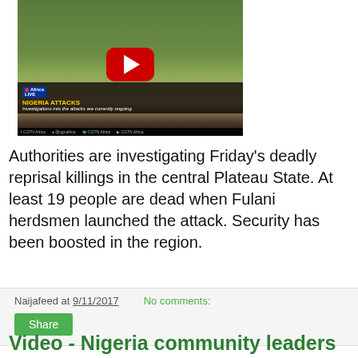[Figure (screenshot): YouTube video thumbnail showing cattle/cows in a field with a red YouTube play button. Lower bar shows 'Africa LIVE' branding and 'NIGERIA ATTACKS - Investigations into the attacks are currently ongoing'. CGTN Africa social media handles shown at bottom.]
Authorities are investigating Friday's deadly reprisal killings in the central Plateau State. At least 19 people are dead when Fulani herdsmen launched the attack. Security has been boosted in the region.
Naijafeed at 9/11/2017    No comments:
Share
Video - Nigeria community leaders try to quell farmer-herder conflict